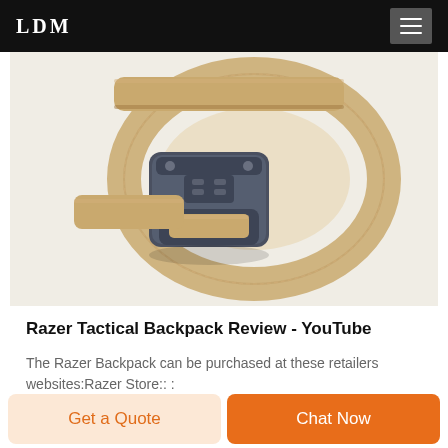LDM
[Figure (photo): Tan/khaki tactical nylon belt coiled showing a dark grey metal quick-release buckle with adjustment hardware]
Razer Tactical Backpack Review - YouTube
The Razer Backpack can be purchased at these retailers websites:Razer Store:: :
[Figure (logo): Two small circular logos/icons partially visible at bottom of content area]
Get a Quote
Chat Now